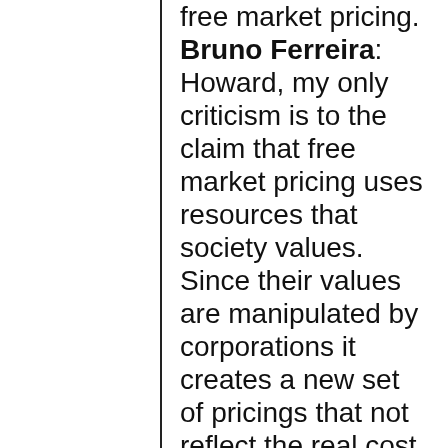free market pricing. Bruno Ferreira: Howard, my only criticism is to the claim that free market pricing uses resources that society values. Since their values are manipulated by corporations it creates a new set of pricings that not reflect the real cost of the resources required. Please remember we live in a scarcity minded capitalist system with no real account (or